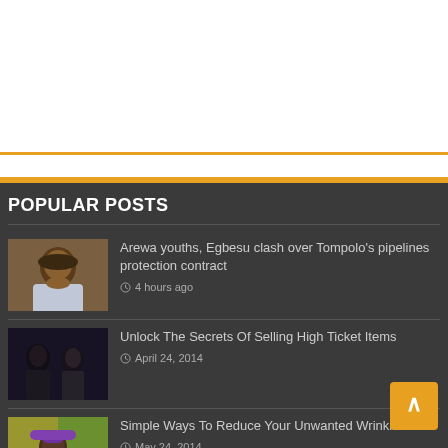POPULAR POSTS
[Figure (photo): Close-up portrait of a man wearing a flat cap, dark skin, against a warm brown background]
Arewa youths, Egbesu clash over Tompolo's pipelines protection contract
4 hours ago
[Figure (photo): Group of people in a dark setting, nighttime or indoor environment]
Unlock The Secrets Of Selling High Ticket Items
April 24, 2014
[Figure (photo): Person wearing a purple beanie hat outdoors with green/yellow background]
Simple Ways To Reduce Your Unwanted Wrinkles!
May 24, 2014